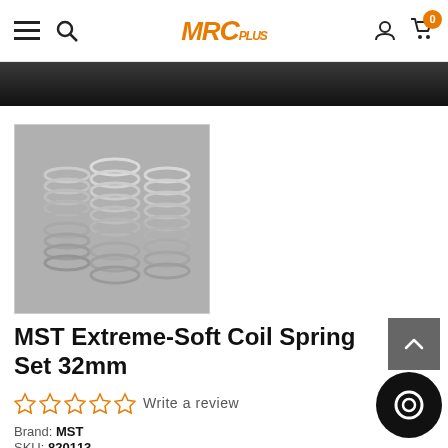MRC Plus navigation bar with hamburger menu, search, logo, user icon, cart (0)
[Figure (photo): Dark textured banner image at top of page below navigation]
[Figure (photo): Product thumbnail image showing multiple silver coil springs (MST Extreme-Soft Coil Spring Set 32mm) on a gray background]
MST Extreme-Soft Coil Spring Set 32mm
☆ ☆ ☆ ☆ ☆  Write a review
Brand: MST
SKU: 820113